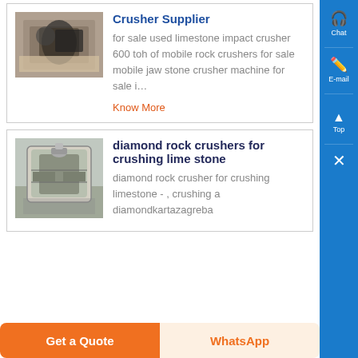[Figure (photo): Photo of a person at a table with food items and a dark cylindrical object, indoor setting]
Crusher Supplier
for sale used limestone impact crusher 600 toh of mobile rock crushers for sale mobile jaw stone crusher machine for sale i…
Know More
[Figure (photo): Outdoor photo of large industrial cylindrical mining/crushing equipment]
diamond rock crushers for crushing lime stone
diamond rock crusher for crushing limestone - , crushing a diamondkartazagreba
Get a Quote
WhatsApp